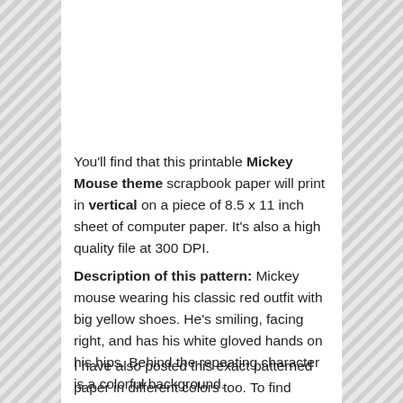You'll find that this printable Mickey Mouse theme scrapbook paper will print in vertical on a piece of 8.5 x 11 inch sheet of computer paper. It's also a high quality file at 300 DPI.
Description of this pattern: Mickey mouse wearing his classic red outfit with big yellow shoes. He's smiling, facing right, and has his white gloved hands on his hips. Behind the repeating character is a colorful background.
I have also posted this exact patterned paper in different colors too. To find them, simply search